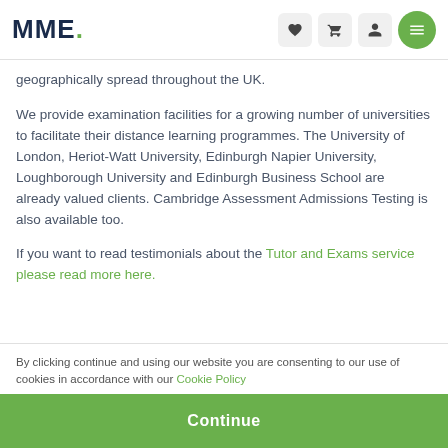MME.
geographically spread throughout the UK.
We provide examination facilities for a growing number of universities to facilitate their distance learning programmes. The University of London, Heriot-Watt University, Edinburgh Napier University, Loughborough University and Edinburgh Business School are already valued clients. Cambridge Assessment Admissions Testing is also available too.
If you want to read testimonials about the Tutor and Exams service please read more here.
By clicking continue and using our website you are consenting to our use of cookies in accordance with our Cookie Policy
Continue